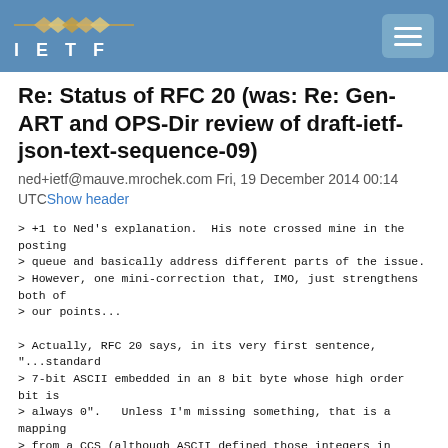IETF
Re: Status of RFC 20 (was: Re: Gen-ART and OPS-Dir review of draft-ietf-json-text-sequence-09)
ned+ietf@mauve.mrochek.com Fri, 19 December 2014 00:14 UTC Show header
> +1 to Ned's explanation.  His note crossed mine in the posting
> queue and basically address different parts of the issue.
> However, one mini-correction that, IMO, just strengthens both of
> our points...

> Actually, RFC 20 says, in its very first sentence, "...standard
> 7-bit ASCII embedded in an 8 bit byte whose high order bit is
> always 0".   Unless I'm missing something, that is a mapping
> from a CCS (although ASCII defined those integers in